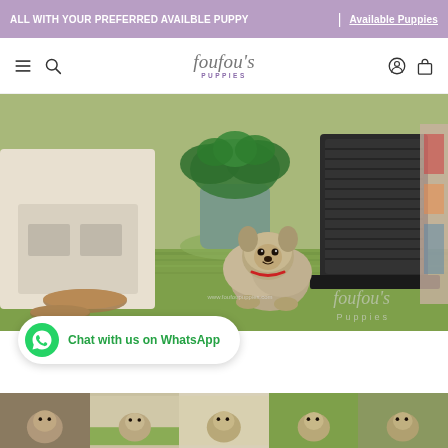ALL WITH YOUR PREFERRED AVAILBLE PUPPY | Available Puppies
[Figure (logo): Foufou's Puppies script logo with decorative lettering and purple PUPPIES text below]
[Figure (photo): A small fluffy Pomeranian puppy sitting on green artificial grass surrounded by indoor decor items including a potted plant, black speaker, and white case. Watermark reads foufoupuppies.com and Foufou's Puppies.]
Chat with us on WhatsApp
[Figure (photo): Thumbnail row of small puppies at bottom of page]